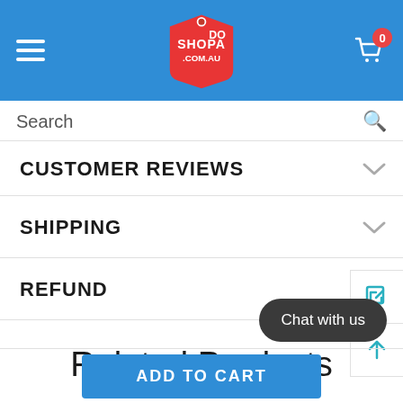[Figure (screenshot): ShopaDo website header with blue background, hamburger menu, ShopaDo logo with price tag graphic, and cart icon with 0 badge]
Search
CUSTOMER REVIEWS
SHIPPING
REFUND
Related Products
Chat with us
ADD TO CART